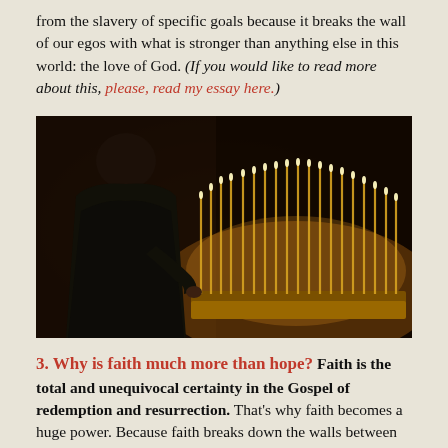from the slavery of specific goals because it breaks the wall of our egos with what is stronger than anything else in this world: the love of God. (If you would like to read more about this, please, read my essay here.)
[Figure (photo): A person dressed in dark clothing lighting candles in a church, with many tall golden candles glowing in the foreground against a dark ornate background.]
3. Why is faith much more than hope? Faith is the total and unequivocal certainty in the Gospel of redemption and resurrection. That's why faith becomes a huge power. Because faith breaks down the walls between us and God. If we